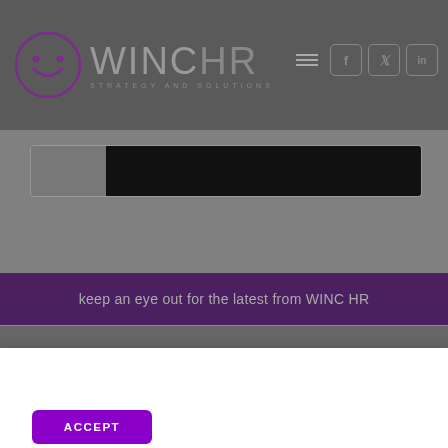[Figure (screenshot): WINC HR Strategy and Solutions website screenshot showing logo with smiley face circle, navigation icons for hamburger menu, Facebook, Twitter, LinkedIn, a content card strip, a purple banner with text 'keep an eye out for the latest from WINC HR']
By continuing to use this website, you consent to the use of cookies in accordance with our cookie policy
ACCEPT